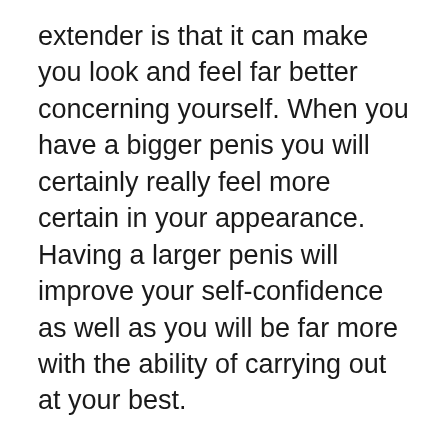extender is that it can make you look and feel far better concerning yourself. When you have a bigger penis you will certainly really feel more certain in your appearance. Having a larger penis will improve your self-confidence as well as you will be far more with the ability of carrying out at your best.
With the correct penis extender you will not need to worry about being embarrassed concerning your size. and also you will no more have to depend on various other approaches for penis improvement. You will certainly have the ability to display your manhood to those you prefer.
You will additionally feel like your penis is firmer, longer as well as more powerful. As